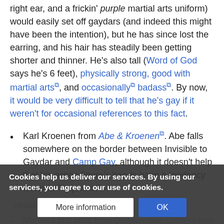right ear, and a frickin' purple martial arts uniform) would easily set off gaydars (and indeed this might have been the intention), but he has since lost the earring, and his hair has steadily been getting shorter and thinner. He's also tall (Word of God says he's 6 feet), physically strong, good with martial arts, and occasionally badass. By now, it would be very difficult to tell that he's gay if it weren't for occasional references to this fact.
Karl Kroenen from Abe & Kroenen. Abe falls somewhere on the border between Invisible to Gaydar and Camp Gay, although it doesn't help that his action figure's hands have a tendency towards "limp wrist" gestures.
Marten's first boss from Questionable Content acts just like any other character; the only difference is his mention of his boyfriend. Marten's coworker, Tai...
Cookies help us deliver our services. By using our services, you agree to our use of cookies.